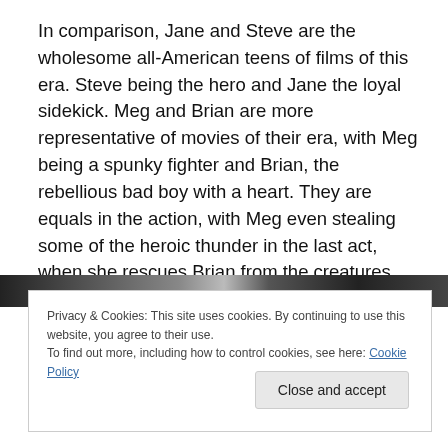In comparison, Jane and Steve are the wholesome all-American teens of films of this era. Steve being the hero and Jane the loyal sidekick. Meg and Brian are more representative of movies of their era, with Meg being a spunky fighter and Brian, the rebellious bad boy with a heart. They are equals in the action, with Meg even stealing some of the heroic thunder in the last act, when she rescues Brian from the creatures clutches.
[Figure (photo): Partial image strip visible behind cookie banner]
Privacy & Cookies: This site uses cookies. By continuing to use this website, you agree to their use.
To find out more, including how to control cookies, see here: Cookie Policy